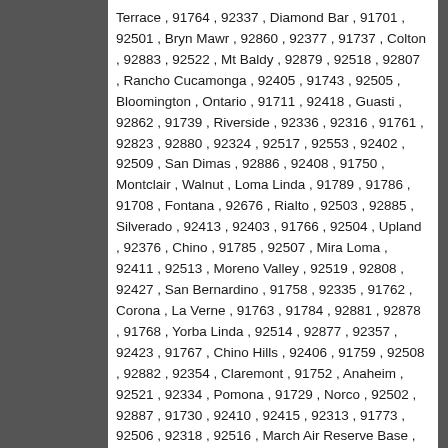Terrace , 91764 , 92337 , Diamond Bar , 91701 , 92501 , Bryn Mawr , 92860 , 92377 , 91737 , Colton , 92883 , 92522 , Mt Baldy , 92879 , 92518 , 92807 , Rancho Cucamonga , 92405 , 91743 , 92505 , Bloomington , Ontario , 91711 , 92418 , Guasti , 92862 , 91739 , Riverside , 92336 , 92316 , 91761 , 92823 , 92880 , 92324 , 92517 , 92553 , 92402 , 92509 , San Dimas , 92886 , 92408 , 91750 , Montclair , Walnut , Loma Linda , 91789 , 91786 , 91708 , Fontana , 92676 , Rialto , 92503 , 92885 , Silverado , 92413 , 92403 , 91766 , 92504 , Upland , 92376 , Chino , 91785 , 92507 , Mira Loma , 92411 , 92513 , Moreno Valley , 92519 , 92808 , 92427 , San Bernardino , 91758 , 92335 , 91762 , Corona , La Verne , 91763 , 91784 , 92881 , 92878 , 91768 , Yorba Linda , 92514 , 92877 , 92357 , 92423 , 91767 , Chino Hills , 92406 , 91759 , 92508 , 92882 , 92354 , Claremont , 91752 , Anaheim , 92521 , 92334 , Pomona , 91729 , Norco , 92502 , 92887 , 91730 , 92410 , 92415 , 92313 , 91773 , 92506 , 92318 , 92516 , March Air Reserve Base , 91709 , 91765 , 92401 , 91769 and More